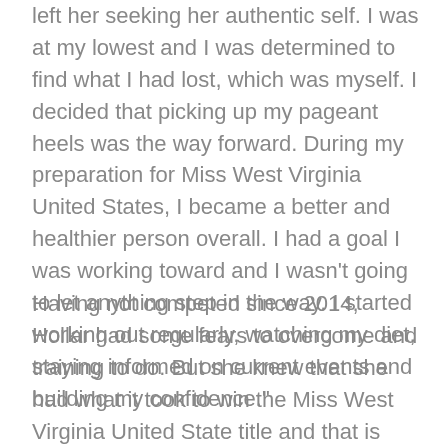left her seeking her authentic self. 'I was at my lowest and I was determined to find what I had lost, which was myself. I decided that picking up my pageant heels was the way forward. During my preparation for Miss West Virginia United States, I became a better and healthier person overall. I had a goal I was working toward and I wasn't going to let anything step in the way. I started working out regularly, watching my diet, staying informed on current events and building my confidence.'
Having not competed since 2014, Hollar had some fears to overcome and training to do. But she knew that she had what it took to win the Miss West Virginia United State title and that is what she set her mind...